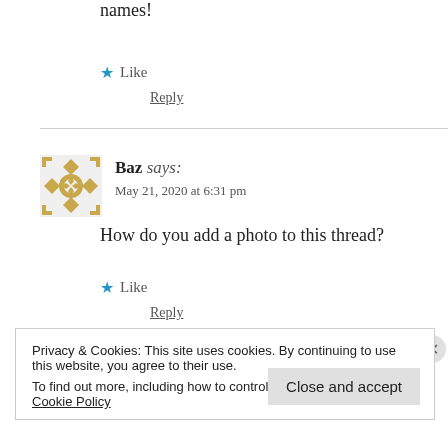names!
★ Like
Reply
[Figure (illustration): User avatar for Baz - decorative geometric pattern in golden/tan color]
Baz says:
May 21, 2020 at 6:31 pm
How do you add a photo to this thread?
★ Like
Reply
Privacy & Cookies: This site uses cookies. By continuing to use this website, you agree to their use.
To find out more, including how to control cookies, see here: Cookie Policy
Close and accept